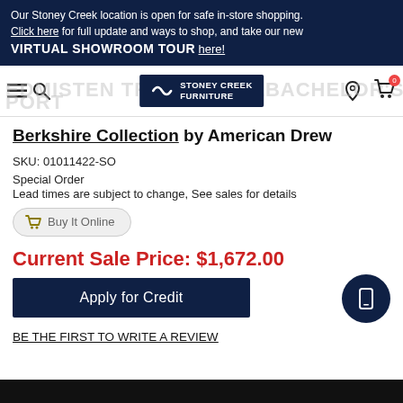Our Stoney Creek location is open for safe in-store shopping. Click here for full update and ways to shop, and take our new VIRTUAL SHOWROOM TOUR here!
[Figure (screenshot): Website navigation bar with hamburger menu, search icon, Stoney Creek Furniture logo, location pin icon, and shopping cart icon with badge]
EDMISTEN TRADITIONAL BACHELOR'S CHEST WITH USB PORT
Berkshire Collection by American Drew
SKU: 01011422-SO
Special Order
Lead times are subject to change, See sales for details
Buy It Online
Current Sale Price: $1,672.00
Apply for Credit
BE THE FIRST TO WRITE A REVIEW